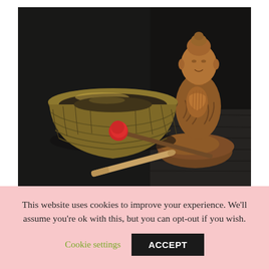[Figure (photo): A Tibetan singing bowl with engraved decorations on a dark wooden surface, a wooden mallet and a red-tipped striker beside it, and a wooden Buddha statue in a meditation pose in the background, all on a dark background.]
This website uses cookies to improve your experience. We'll assume you're ok with this, but you can opt-out if you wish.
Cookie settings
ACCEPT